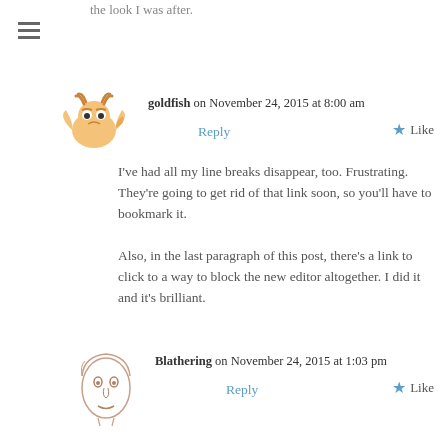the look I was after.
[Figure (illustration): Hamburger menu icon (three horizontal lines)]
[Figure (illustration): Goldfish avatar icon - cartoon angry fish face]
goldfish on November 24, 2015 at 8:00 am
Reply
Like
I've had all my line breaks disappear, too. Frustrating. They're going to get rid of that link soon, so you'll have to bookmark it.

Also, in the last paragraph of this post, there's a link to click to a way to block the new editor altogether. I did it and it's brilliant.
[Figure (illustration): Blathering avatar icon - hand-drawn face sketch]
Blathering on November 24, 2015 at 1:03 pm
Reply
Like